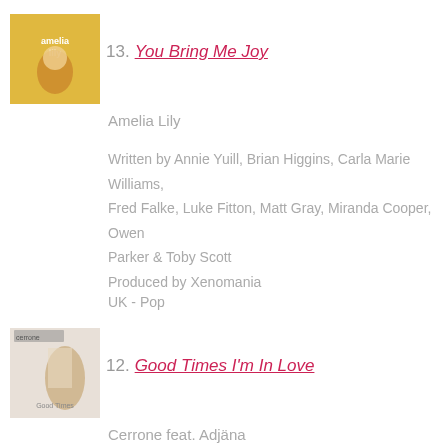[Figure (photo): Album cover for 'You Bring Me Joy' by Amelia Lily — colorful illustrated cover with artist name]
13. You Bring Me Joy
Amelia Lily
Written by Annie Yuill, Brian Higgins, Carla Marie Williams, Fred Falke, Luke Fitton, Matt Gray, Miranda Cooper, Owen Parker & Toby Scott
Produced by Xenomania
UK - Pop
[Figure (photo): Album cover for 'Good Times I'm In Love' by Cerrone feat. Adjäna — person in white against light background]
12. Good Times I'm In Love
Cerrone feat. Adjäna
Written & Produced by Cerrone [TBC]
France - Dance/Soul